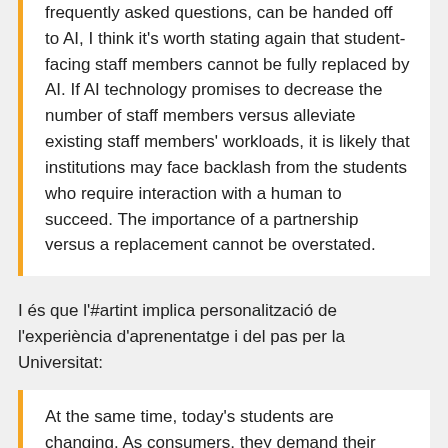frequently asked questions, can be handed off to AI, I think it's worth stating again that student-facing staff members cannot be fully replaced by AI. If AI technology promises to decrease the number of staff members versus alleviate existing staff members' workloads, it is likely that institutions may face backlash from the students who require interaction with a human to succeed. The importance of a partnership versus a replacement cannot be overstated.
I és que l'#artint implica personalització de l'experiència d'aprenentatge i del pas per la Universitat:
At the same time, today's students are changing. As consumers, they demand their favorite brands to offer them a deeply